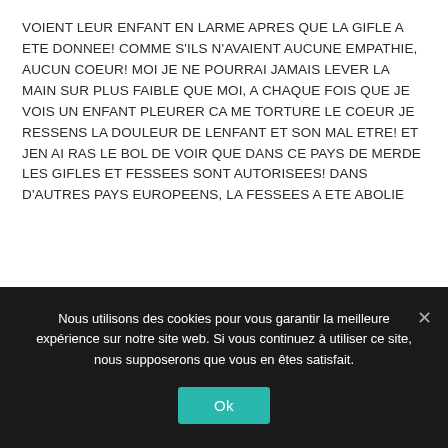VOIENT LEUR ENFANT EN LARME APRES QUE LA GIFLE A ETE DONNEE! COMME S'ILS N'AVAIENT AUCUNE EMPATHIE, AUCUN COEUR! MOI JE NE POURRAI JAMAIS LEVER LA MAIN SUR PLUS FAIBLE QUE MOI, A CHAQUE FOIS QUE JE VOIS UN ENFANT PLEURER CA ME TORTURE LE COEUR JE RESSENS LA DOULEUR DE LENFANT ET SON MAL ETRE! ET JEN AI RAS LE BOL DE VOIR QUE DANS CE PAYS DE MERDE LES GIFLES ET FESSEES SONT AUTORISEES! DANS D'AUTRES PAYS EUROPEENS, LA FESSEES A ETE ABOLIE
Nous utilisons des cookies pour vous garantir la meilleure expérience sur notre site web. Si vous continuez à utiliser ce site, nous supposerons que vous en êtes satisfait.
Ok